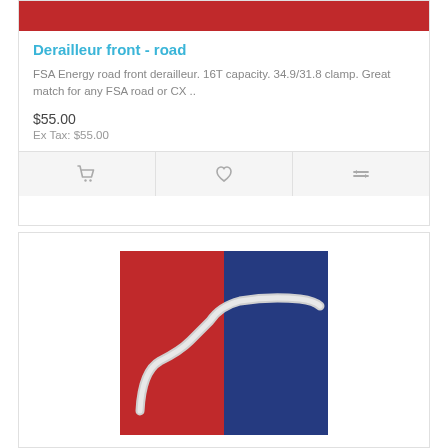[Figure (photo): Red product image partially visible at top of card (clipped)]
Derailleur front - road
FSA Energy road front derailleur. 16T capacity. 34.9/31.8 clamp. Great match for any FSA road or CX ..
$55.00
Ex Tax: $55.00
[Figure (photo): Silver handlebar/derailleur component on red and blue fabric background]